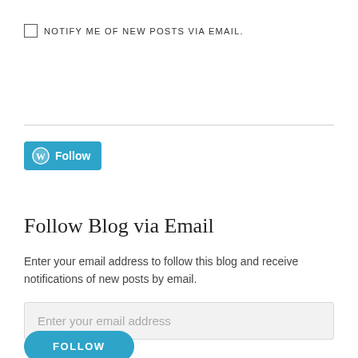NOTIFY ME OF NEW POSTS VIA EMAIL.
[Figure (other): WordPress Follow button with W logo]
Follow Blog via Email
Enter your email address to follow this blog and receive notifications of new posts by email.
Enter your email address
FOLLOW